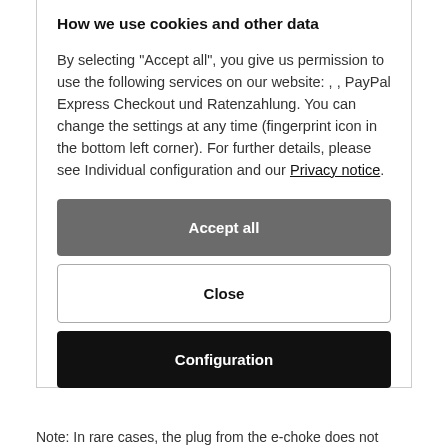How we use cookies and other data
By selecting "Accept all", you give us permission to use the following services on our website: , , PayPal Express Checkout und Ratenzahlung. You can change the settings at any time (fingerprint icon in the bottom left corner). For further details, please see Individual configuration and our Privacy notice.
Accept all
Close
Configuration
Note: In rare cases, the plug from the e-choke does not